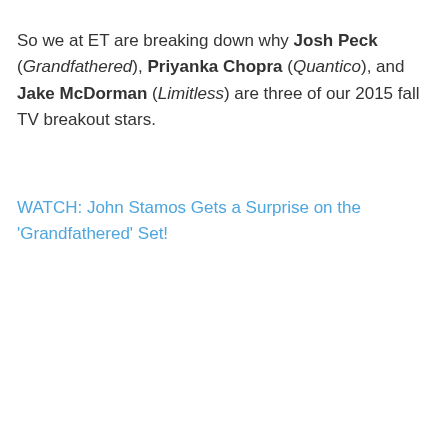So we at ET are breaking down why Josh Peck (Grandfathered), Priyanka Chopra (Quantico), and Jake McDorman (Limitless) are three of our 2015 fall TV breakout stars.
WATCH: John Stamos Gets a Surprise on the 'Grandfathered' Set!